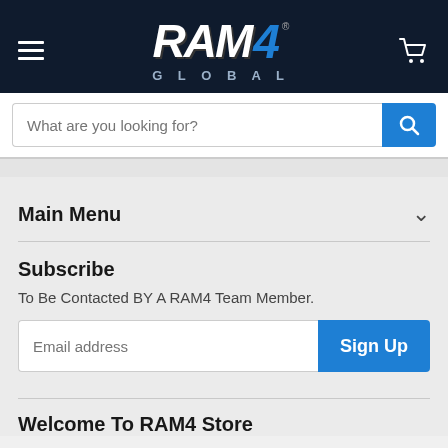[Figure (logo): RAM4 Global logo — white italic bold RAM text with blue 4, GLOBAL subtitle in grey-blue]
What are you looking for?
Main Menu
Subscribe
To Be Contacted BY A RAM4 Team Member.
Email address
Sign Up
Welcome To RAM4 Store